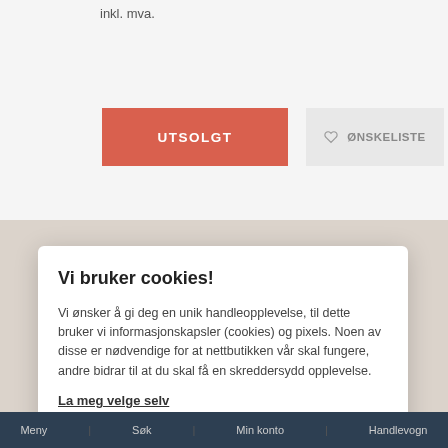inkl. mva.
UTSOLGT
♡ ØNSKELISTE
Vi bruker cookies!
Vi ønsker å gi deg en unik handleopplevelse, til dette bruker vi informasjonskapsler (cookies) og pixels. Noen av disse er nødvendige for at nettbutikken vår skal fungere, andre bidrar til at du skal få en skreddersydd opplevelse.
La meg velge selv
Godta alle
Godta kun nødvendige
Meny | Søk | Min konto | Handlevogn